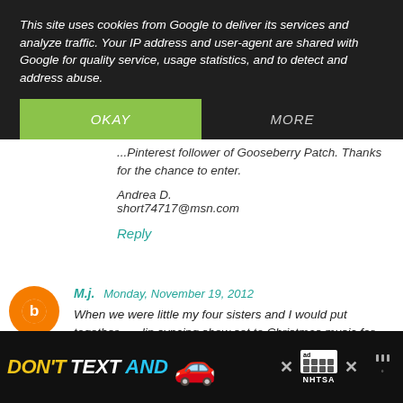This site uses cookies from Google to deliver its services and analyze traffic. Your IP address and user-agent are shared with Google for quality service, usage statistics, and to detect and address abuse.
...Pinterest follower of Gooseberry Patch. Thanks for the chance to enter.
Andrea D.
short74717@msn.com
Reply
M.j.  Monday, November 19, 2012
When we were little my four sisters and I would put together a lip syncing show set to Christmas music for our mom and dad. We would perform on Christmas Eve. Used a brush as a mic...it was great fun and great memories...ciao4now64 at y...
Reply
WHAT'S NEXT → Lemonade
DON'T TEXT AND